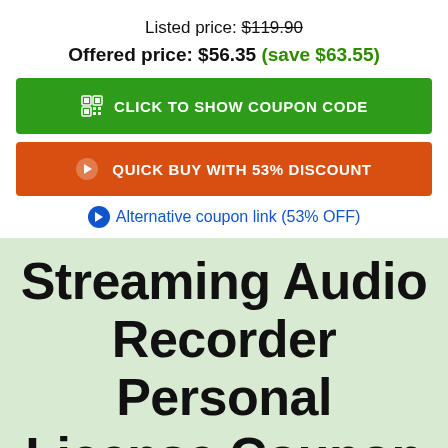Listed price: $119.90
Offered price: $56.35 (save $63.55)
CLICK TO SHOW COUPON CODE
QUICK BUY WITH 53% DISCOUNT
Alternative coupon link (53% OFF)
Streaming Audio Recorder Personal License Coupon code (Here, 61% OFF)